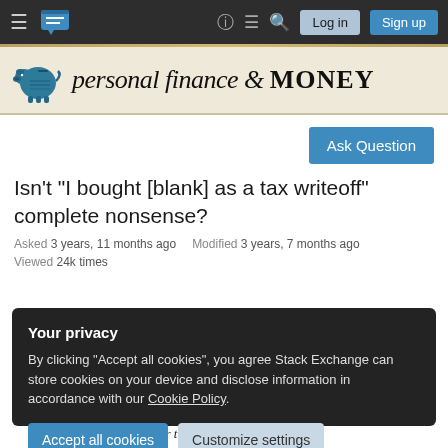personal finance & MONEY — Stack Exchange navigation bar with Log in and Sign up buttons
[Figure (logo): Personal Finance & Money Stack Exchange site banner with piggy bank logo and italic/serif title]
Ask Question
Isn't "I bought [blank] as a tax writeoff" complete nonsense?
Asked 3 years, 11 months ago   Modified 3 years, 7 months ago
Viewed 24k times
Your privacy
By clicking "Accept all cookies", you agree Stack Exchange can store cookies on your device and disclose information in accordance with our Cookie Policy.
Accept all cookies   Customize settings
bump me up to another tax bracket). The thing is,